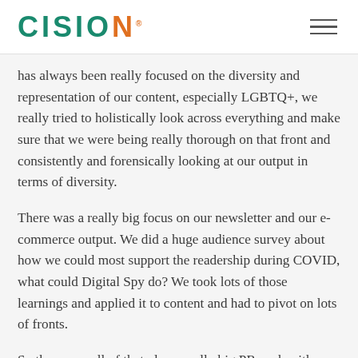CISION
has always been really focused on the diversity and representation of our content, especially LGBTQ+, we really tried to holistically look across everything and make sure that we were being really thorough on that front and consistently and forensically looking at our output in terms of diversity.
There was a really big focus on our newsletter and our e-commerce output. We did a huge audience survey about how we could most support the readership during COVID, what could Digital Spy do? We took lots of those learnings and applied it to content and had to pivot on lots of fronts.
So there was all of that plus a really big PR push with Calum [Forbes, PR & Comms Manager] and we've